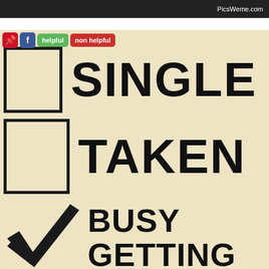PicsWeme.com
[Figure (infographic): A humorous checklist-style graphic on a beige/cream background with three checkbox rows: first row shows an empty checkbox next to the word SINGLE in large bold text; second row shows an empty checkbox next to the word TAKEN in large bold text; third row shows a checked checkbox (large checkmark) next to the text BUSY GETTING MONEY in large bold text. Overlay buttons at top-left include Pinterest, Facebook, helpful (green), and non helpful (red) buttons.]